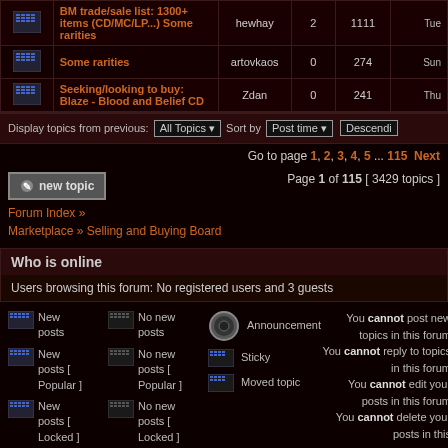|  | Topic | Author | Replies | Views | Last post |
| --- | --- | --- | --- | --- | --- |
| [icon] | BM trade/sale list: 1300+ items (CD/MC/LP...) Some rarities | hewhay | 2 | 1111 | Tue |
| [icon] | Some rarities | artovkaos | 0 | 274 | Sun |
| [icon] | Seeking/looking to buy: Blaze - Blood and Belief CD | Zdan | 0 | 241 | Thu |
Display topics from previous: All Topics ▼  Sort by  Post time ▼  Descendi...
Go to page 1, 2, 3, 4, 5 ... 115  Next
Forum Index » Marketplace » Selling and Buying Board
Page 1 of 115 [ 3429 topics ]
Who is online
Users browsing this forum: No registered users and 3 guests
New posts | No new posts | Announcement | New posts [ Popular ] | No new posts [ Popular ] | Sticky | New posts [ Locked ] | No new posts [ Locked ] | Moved topic
You cannot post new topics in this forum You cannot reply to topics in this forum You cannot edit your posts in this forum You cannot delete your posts in this